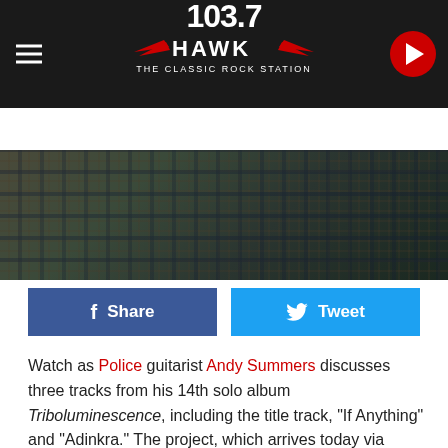103.7 THE HAWK - THE CLASSIC ROCK STATION
[Figure (screenshot): Radio station header with logo 103.7 The Hawk, listen now button, JEN AUSTIN text, and photo of person in plaid shirt]
Watch as Police guitarist Andy Summers discusses three tracks from his 14th solo album Triboluminescence, including the title track, "If Anything" and "Adinkra." The project, which arrives today via Flickering Shadow, follows 2015's Metal Dog – which was issued in conjunction with the home-video release of Summers' documentary Can't Stand Losing You: Surviving The Police.
"Triboluminescence is actually a scientific word that means